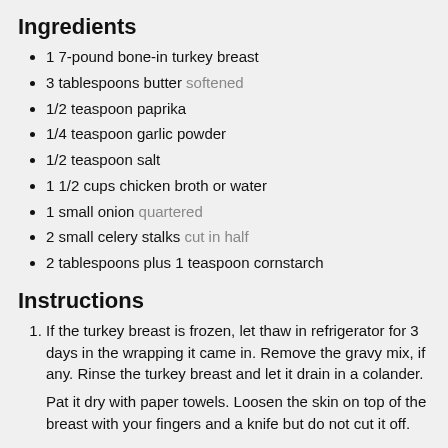Ingredients
1 7-pound bone-in turkey breast
3 tablespoons butter softened
1/2 teaspoon paprika
1/4 teaspoon garlic powder
1/2 teaspoon salt
1 1/2 cups chicken broth or water
1 small onion quartered
2 small celery stalks cut in half
2 tablespoons plus 1 teaspoon cornstarch
Instructions
If the turkey breast is frozen, let thaw in refrigerator for 3 days in the wrapping it came in. Remove the gravy mix, if any. Rinse the turkey breast and let it drain in a colander.

Pat it dry with paper towels. Loosen the skin on top of the breast with your fingers and a knife but do not cut it off.
Combine butter, herb seasoning, and salt in a small bowl. Using fingertips, spread about 2 tablespoons of the mixture